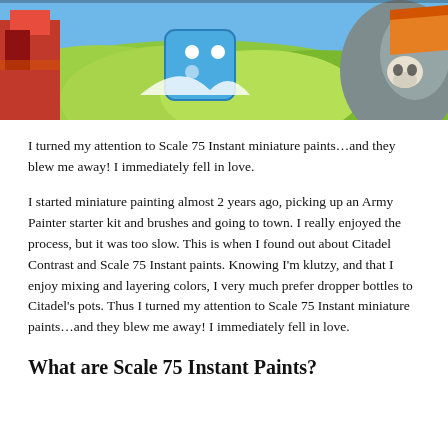[Figure (photo): Close-up photograph of a colorful miniature board game scene with green terrain, a blue die, and stone castle elements with a skull.]
I turned my attention to Scale 75 Instant miniature paints…and they blew me away! I immediately fell in love.
I started miniature painting almost 2 years ago, picking up an Army Painter starter kit and brushes and going to town. I really enjoyed the process, but it was too slow. This is when I found out about Citadel Contrast and Scale 75 Instant paints. Knowing I'm klutzy, and that I enjoy mixing and layering colors, I very much prefer dropper bottles to Citadel's pots. Thus I turned my attention to Scale 75 Instant miniature paints…and they blew me away! I immediately fell in love.
What are Scale 75 Instant Paints?